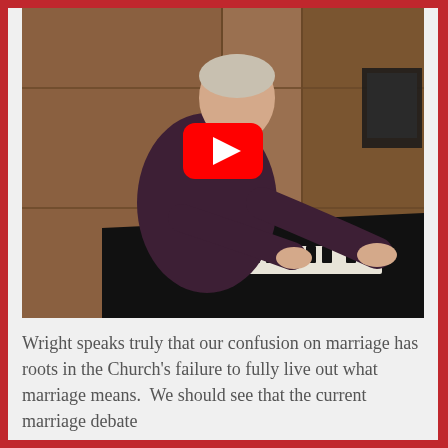[Figure (photo): A man in a dark purple shirt playing a grand piano in a wood-paneled room. A YouTube play button overlay (red rectangle with white triangle) is centered on the image.]
Wright speaks truly that our confusion on marriage has roots in the Church's failure to fully live out what marriage means.  We should see that the current marriage debate